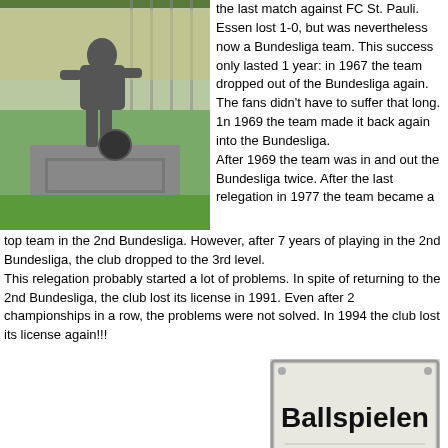[Figure (photo): Bronze statue of a football player with a ball on a stone pedestal, set on a grass area with a fence in the background.]
the last match against FC St. Pauli. Essen lost 1-0, but was nevertheless now a Bundesliga team. This success only lasted 1 year: in 1967 the team dropped out of the Bundesliga again. The fans didn't have to suffer that long. 1n 1969 the team made it back again into the Bundesliga. After 1969 the team was in and out the Bundesliga twice. After the last relegation in 1977 the team became a top team in the 2nd Bundesliga. However, after 7 years of playing in the 2nd Bundesliga, the club dropped to the 3rd level.
This relegation probably started a lot of problems. In spite of returning to the 2nd Bundesliga, the club lost its license in 1991. Even after 2 championships in a row, the problems were not solved. In 1994 the club lost its license again!!!
Being an amateur-team now, Rot-Weiß Essen surprised everybody when they reached the final of the German cup in 1994. The final was lost 3-1 against Werder Bremen.
1998 the club reached rock bottom: after relegating in 1997 to the 3rd level, the team now relegated again and had to start all over (again) on the 4th level.
[Figure (photo): A sign reading 'Ballspielen verboten' (Ball playing forbidden) in bold black text on a white rectangular sign with a metal frame.]
Still the club is in turmoil. After returning to the 2nd Bundesliga in 2004, the team relegated again in 2007.